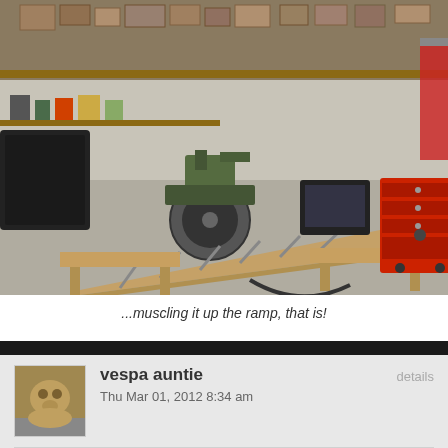[Figure (photo): Garage interior with a scooter/motorcycle, wooden ramps and benches, red tool chest on wheels, shelves with boxes along the back wall, and various equipment hanging on the walls.]
...muscling it up the ramp, that is!
vespa auntie
Thu Mar 01, 2012 8:34 am
details
link   quote
EZ wrote: